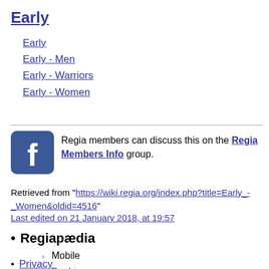Early
Early
Early - Men
Early - Warriors
Early - Women
Regia members can discuss this on the Regia Members Info group.
Retrieved from "https://wiki.regia.org/index.php?title=Early_-_Women&oldid=4516"
Last edited on 21 January 2018, at 19:57
Regiapædia
Mobile
Desktop
Privacy